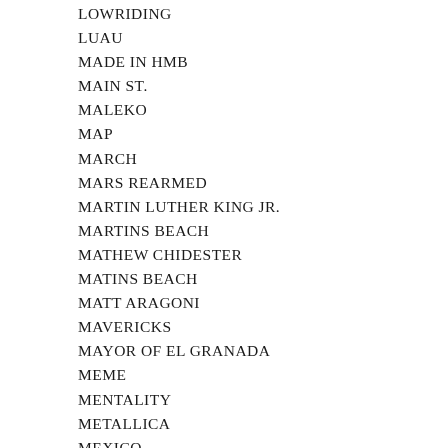LOWRIDING
LUAU
MADE IN HMB
MAIN ST.
MALEKO
MAP
MARCH
MARS REARMED
MARTIN LUTHER KING JR.
MARTINS BEACH
MATHEW CHIDESTER
MATINS BEACH
MATT ARAGONI
MAVERICKS
MAYOR OF EL GRANADA
MEME
MENTALITY
METALLICA
MEXICO